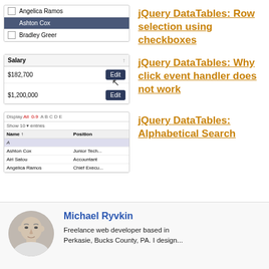[Figure (screenshot): DataTables row selection using checkboxes - thumbnail showing rows with checkboxes, one row selected highlighted in dark blue]
jQuery DataTables: Row selection using checkboxes
[Figure (screenshot): DataTables salary column with Edit buttons and cursor hover effect]
jQuery DataTables: Why click event handler does not work
[Figure (screenshot): DataTables alphabetical search with alphabet filter letters and table rows]
jQuery DataTables: Alphabetical Search
[Figure (photo): Circular headshot photo of Michael Ryvkin]
Michael Ryvkin
Freelance web developer based in Perkasie, Bucks County, PA. I design...